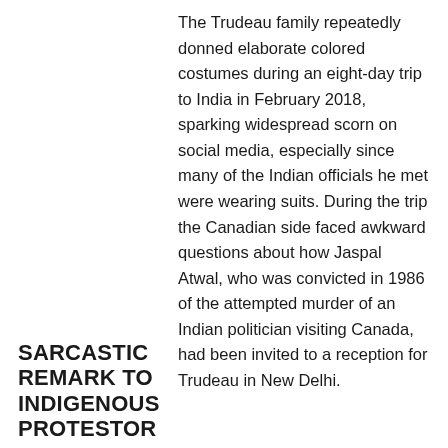The Trudeau family repeatedly donned elaborate colored costumes during an eight-day trip to India in February 2018, sparking widespread scorn on social media, especially since many of the Indian officials he met were wearing suits. During the trip the Canadian side faced awkward questions about how Jaspal Atwal, who was convicted in 1986 of the attempted murder of an Indian politician visiting Canada, had been invited to a reception for Trudeau in New Delhi.
SARCASTIC REMARK TO INDIGENOUS PROTESTOR